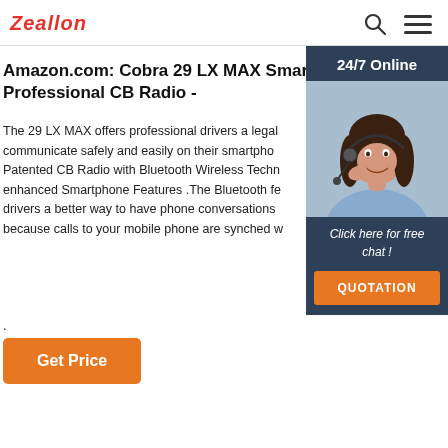Zeallon
Amazon.com: Cobra 29 LX MAX Smart Professional CB Radio -
The 29 LX MAX offers professional drivers a legal communicate safely and easily on their smartpho Patented CB Radio with Bluetooth Wireless Techn enhanced Smartphone Features .The Bluetooth fe drivers a better way to have phone conversations because calls to your mobile phone are synched w
.
Get Price
[Figure (infographic): Customer support widget with 24/7 Online header, photo of a woman with headset, 'Click here for free chat!' text, and QUOTATION button]